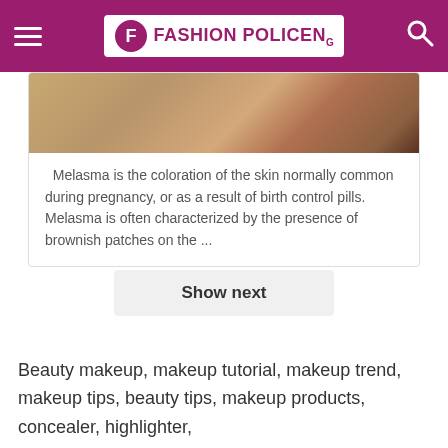Fashion PolicEng
[Figure (photo): Close-up of a person's skin showing melanin/skin tone, cropped photo showing neck and shoulder area]
Melasma is the coloration of the skin normally common during pregnancy, or as a result of birth control pills. Melasma is often characterized by the presence of brownish patches on the ...
Show next
Beauty makeup, makeup tutorial, makeup trend, makeup tips, beauty tips, makeup products, concealer, highlighter,